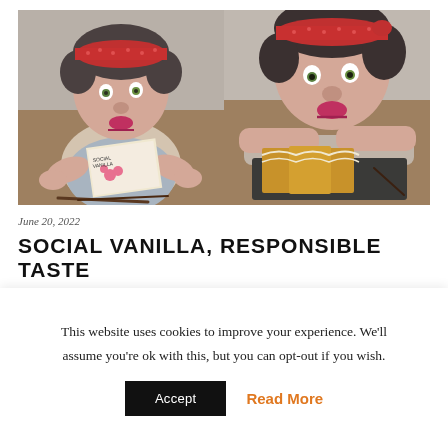[Figure (photo): Two side-by-side photos of a handmade puppet/doll with a red bandana and gray hair. Left photo: puppet holds a card reading 'Social Vanilla' with pink flowers, with vanilla beans on a wooden table. Right photo: puppet leans over a slate board with sliced glazed cake/scones on a wooden table.]
June 20, 2022
SOCIAL VANILLA, RESPONSIBLE TASTE
This website uses cookies to improve your experience. We'll assume you're ok with this, but you can opt-out if you wish.
Accept
Read More